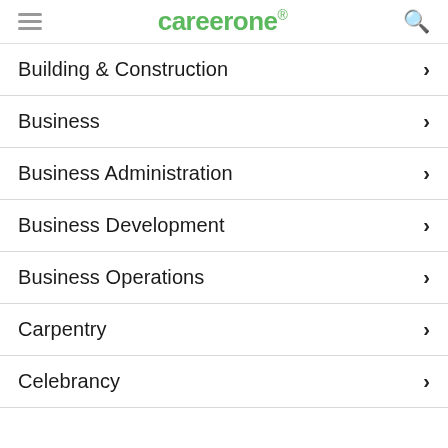careerone
Building & Construction
Business
Business Administration
Business Development
Business Operations
Carpentry
Celebrancy